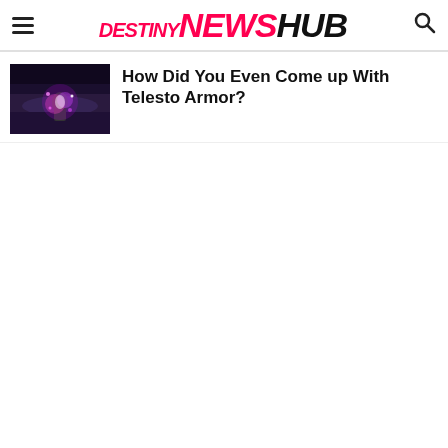DESTINY NEWS HUB
[Figure (screenshot): Thumbnail image of a Destiny game scene showing a player character with purple/pink glowing effects against a dark background]
How Did You Even Come up With Telesto Armor?